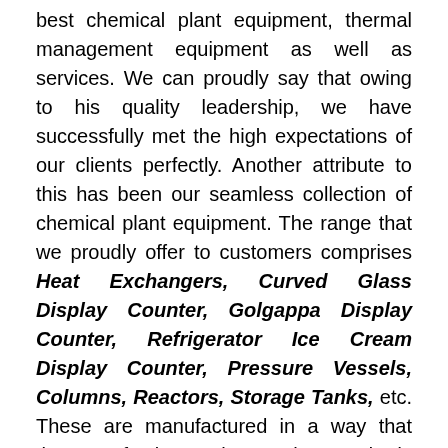best chemical plant equipment, thermal management equipment as well as services. We can proudly say that owing to his quality leadership, we have successfully met the high expectations of our clients perfectly. Another attribute to this has been our seamless collection of chemical plant equipment. The range that we proudly offer to customers comprises Heat Exchangers, Curved Glass Display Counter, Golgappa Display Counter, Refrigerator Ice Cream Display Counter, Pressure Vessels, Columns, Reactors, Storage Tanks, etc. These are manufactured in a way that these perfectly matches to the standards of ISO 9001:2015. To assure this, we make use of top quality carbon steel, low alloy steel, CSRL, stainless steel, LTCS and many other industrial materials in their production process. During our